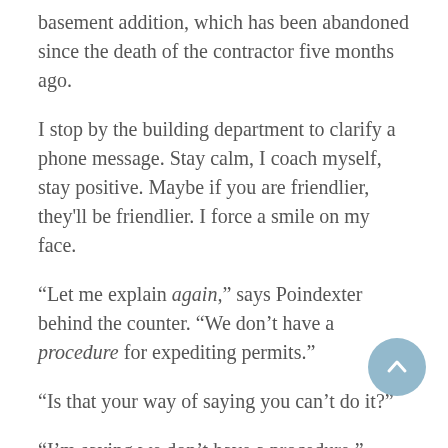basement addition, which has been abandoned since the death of the contractor five months ago.
I stop by the building department to clarify a phone message. Stay calm, I coach myself, stay positive. Maybe if you are friendlier, they'll be friendlier. I force a smile on my face.
“Let me explain again,” says Poindexter behind the counter. “We don’t have a procedure for expediting permits.”
“Is that your way of saying you can’t do it?”
“I’m saying we don’t have a procedure.”
“Procedure? You send an email asking people to